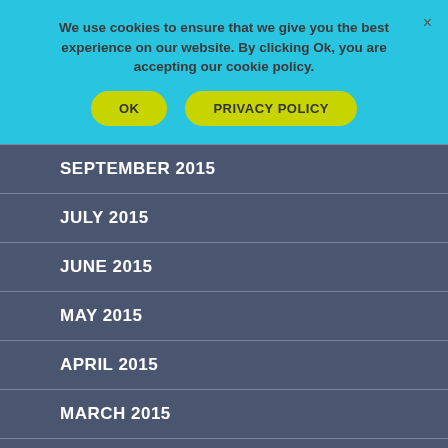We use cookies to ensure that we give you the best experience on our website. By clicking Ok, you are accepting our cookie policy.
OK
PRIVACY POLICY
SEPTEMBER 2015
JULY 2015
JUNE 2015
MAY 2015
APRIL 2015
MARCH 2015
FEBRUARY 2015